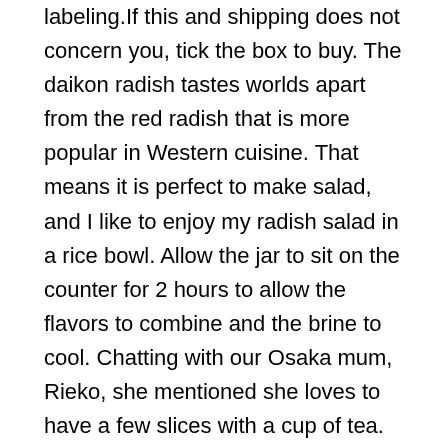labeling.If this and shipping does not concern you, tick the box to buy. The daikon radish tastes worlds apart from the red radish that is more popular in Western cuisine. That means it is perfect to make salad, and I like to enjoy my radish salad in a rice bowl. Allow the jar to sit on the counter for 2 hours to allow the flavors to combine and the brine to cool. Chatting with our Osaka mum, Rieko, she mentioned she loves to have a few slices with a cup of tea. Suddenly we are going to Korean restaurants to try Korean cuisine, which thankfully is rather good, The food are served with many side dishes like kimchi, cucumber, and this yellow pickled radish. Use daikon in soups and stews in place of carrots. You can also top a few slices over plain rice, or as an added snack to a bento box. Here's where the Wandercooks journey began.... Cut the rest of the the radish pieces to make 20 radish strips total. It's a varietal of the Daikon radish but it's it's shorter, fatter, and heavier, the flesh denser and the leaves a lot smoother. I am in love with Korean radish. While it is a great color agent and contains health benefits, you don't have to use it if you don't have it. Give it a good shake. Keto , Low Carb , Salad , Seasonal , Sides , Spring , Summer , THM , THM-FP , Toppings , Vegan , Vegetables A weight is then placed on top of the crock, and the daikon is allowed to pickle for several months. Be sure to keep the radish chilled if you're not going to make this recipe right away. Sodium 1,940g. Pictured is a pint and a half, but you could also use a quart